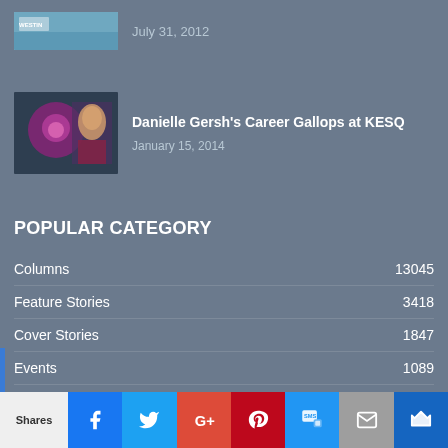[Figure (photo): Small thumbnail image of Westin hotel/property exterior]
July 31, 2012
[Figure (photo): Article thumbnail showing weather graphic and woman reporter for KESQ]
Danielle Gersh's Career Gallops at KESQ
January 15, 2014
POPULAR CATEGORY
Columns 13045
Feature Stories 3418
Cover Stories 1847
Events 1089
Local Music Spotlight 680
Screeners 537
Shares | Facebook | Twitter | G+ | Pinterest | SMS | Email | Crown